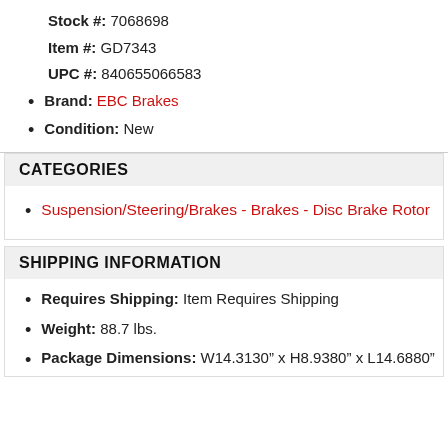Stock #: 7068698
Item #: GD7343
UPC #: 840655066583
Brand: EBC Brakes
Condition: New
CATEGORIES
Suspension/Steering/Brakes - Brakes - Disc Brake Rotor
SHIPPING INFORMATION
Requires Shipping: Item Requires Shipping
Weight: 88.7 lbs.
Package Dimensions: W14.3130" x H8.9380" x L14.6880"